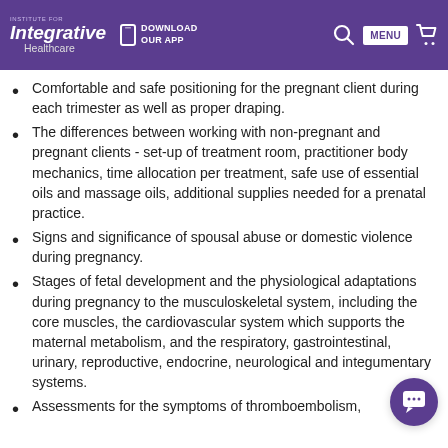Institute for Integrative Healthcare — DOWNLOAD OUR APP — MENU
Comfortable and safe positioning for the pregnant client during each trimester as well as proper draping.
The differences between working with non-pregnant and pregnant clients - set-up of treatment room, practitioner body mechanics, time allocation per treatment, safe use of essential oils and massage oils, additional supplies needed for a prenatal practice.
Signs and significance of spousal abuse or domestic violence during pregnancy.
Stages of fetal development and the physiological adaptations during pregnancy to the musculoskeletal system, including the core muscles, the cardiovascular system which supports the maternal metabolism, and the respiratory, gastrointestinal, urinary, reproductive, endocrine, neurological and integumentary systems.
Assessments for the symptoms of thromboembolism,